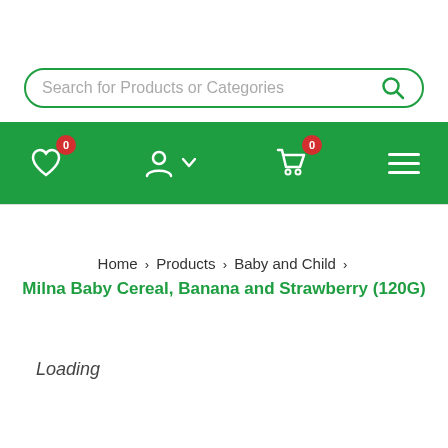[Figure (screenshot): Search bar with green border and search icon, placeholder text 'Search for Products or Categories']
[Figure (screenshot): Green navigation bar with heart icon (badge 0), user account icon with dropdown, cart icon (badge 0), and hamburger menu icon]
Home > Products > Baby and Child >
Milna Baby Cereal, Banana and Strawberry (120G)
Loading